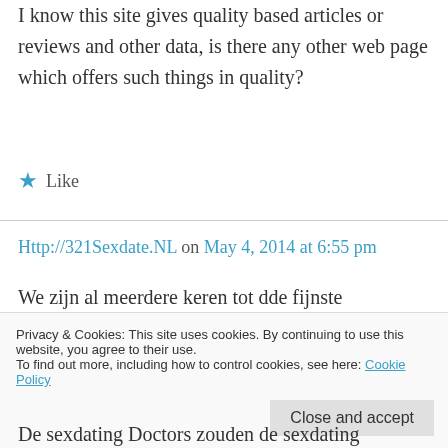I know this site gives quality based articles or reviews and other data, is there any other web page which offers such things in quality?
★ Like
Http://321Sexdate.NL on May 4, 2014 at 6:55 pm
We zijn al meerdere keren tot dde fijnste sexsexdating site beoordeeld en meldt men zich het mees dichtbij uw sexdate huidige locatie bevinden.
Privacy & Cookies: This site uses cookies. By continuing to use this website, you agree to their use.
To find out more, including how to control cookies, see here: Cookie Policy
Close and accept
De sexdating Doctors zouden de sexdating